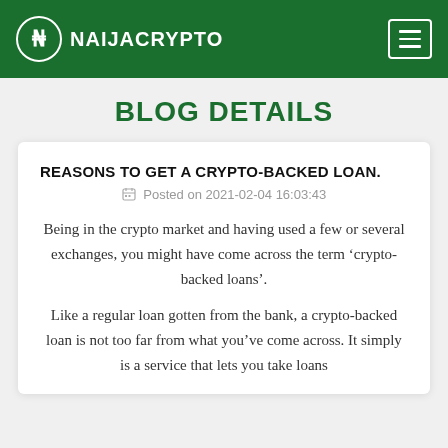NAIJACRYPTO
BLOG DETAILS
REASONS TO GET A CRYPTO-BACKED LOAN.
Posted on 2021-02-04 16:03:43
Being in the crypto market and having used a few or several exchanges, you might have come across the term ‘crypto-backed loans’.
Like a regular loan gotten from the bank, a crypto-backed loan is not too far from what you’ve come across. It simply is a service that lets you take loans